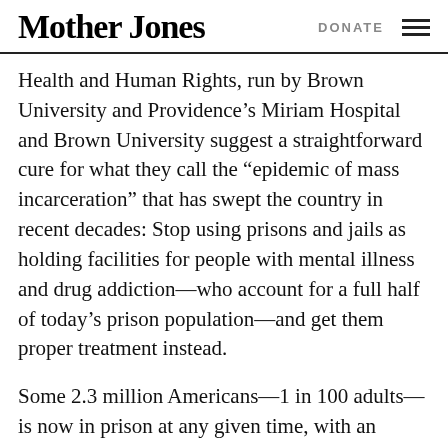Mother Jones   DONATE
Health and Human Rights, run by Brown University and Providence’s Miriam Hospital and Brown University suggest a straightforward cure for what they call the “epidemic of mass incarceration” that has swept the country in recent decades: Stop using prisons and jails as holding facilities for people with mental illness and drug addiction—who account for a full half of today’s prison population—and get them proper treatment instead.
Some 2.3 million Americans—1 in 100 adults—is now in prison at any given time, with an estimated 10 million cycling in and out of prisons and jails each year. The numbers have increased more than 600